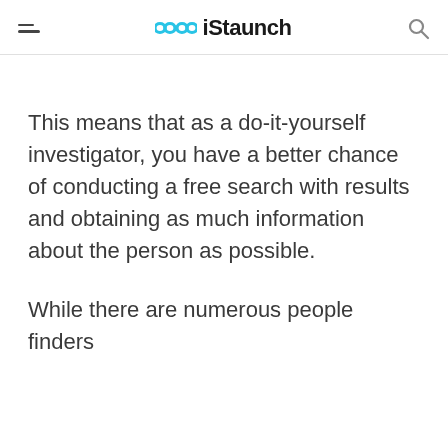iStaunch
This means that as a do-it-yourself investigator, you have a better chance of conducting a free search with results and obtaining as much information about the person as possible.
While there are numerous people finders